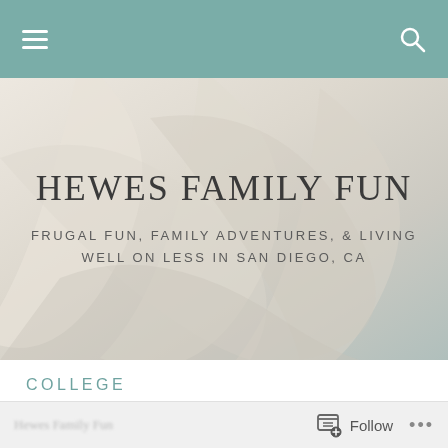Hewes Family Fun — navigation bar with hamburger menu and search icon
[Figure (photo): Hero banner with soft cream/beige feather or leaf background texture]
HEWES FAMILY FUN
FRUGAL FUN, FAMILY ADVENTURES, & LIVING WELL ON LESS IN SAN DIEGO, CA
COLLEGE
Follow ...